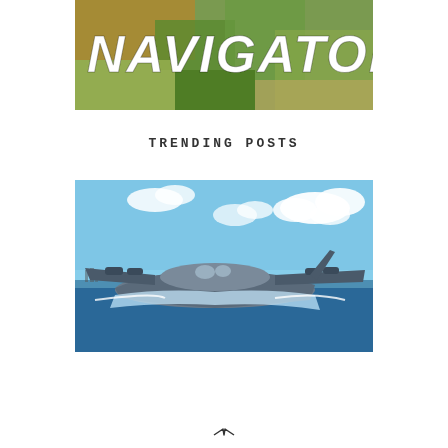[Figure (photo): Aerial photograph of farmland and landscape viewed from above, with the word NAVIGATOR overlaid in large bold italic white text]
TRENDING POSTS
[Figure (photo): A large seaplane or flying boat landing on or taking off from water, with water spray visible beneath the hull, blue sky with clouds in background and city skyline visible on the horizon]